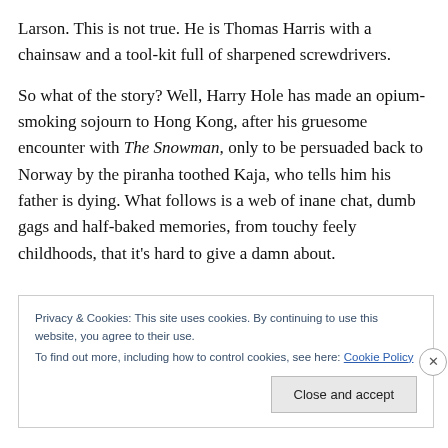Larson. This is not true. He is Thomas Harris with a chainsaw and a tool-kit full of sharpened screwdrivers.
So what of the story? Well, Harry Hole has made an opium-smoking sojourn to Hong Kong, after his gruesome encounter with The Snowman, only to be persuaded back to Norway by the piranha toothed Kaja, who tells him his father is dying. What follows is a web of inane chat, dumb gags and half-baked memories, from touchy feely childhoods, that it's hard to give a damn about.
Privacy & Cookies: This site uses cookies. By continuing to use this website, you agree to their use. To find out more, including how to control cookies, see here: Cookie Policy